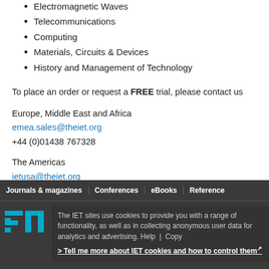Electromagnetic Waves
Telecommunications
Computing
Materials, Circuits & Devices
History and Management of Technology
To place an order or request a FREE trial, please contact us
Europe, Middle East and Africa
emea.sales@theiet.org
+44 (0)01438 767328
The Americas
ietusa@theiet.org
+4 (732) 321 5575
Asia Pacific
salesAP@theiet.org
+852 2778 1611
Journals & magazines | Conferences | eBooks | Reference | Help | Copy